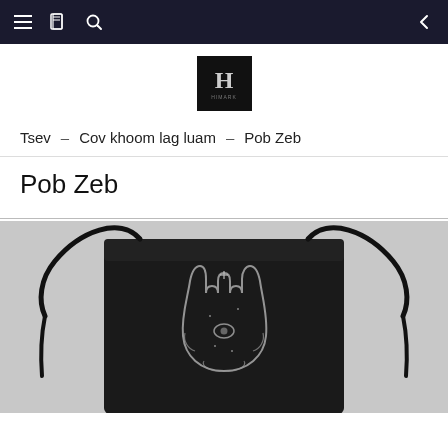Navigation bar with menu, book, search icons and back arrow
[Figure (logo): Black square logo with letter H and text underneath]
Tsev – Cov khoom lag luam – Pob Zeb
Pob Zeb
[Figure (photo): Black velvet drawstring pouch bag with embroidered Hamsa hand design on grey background]